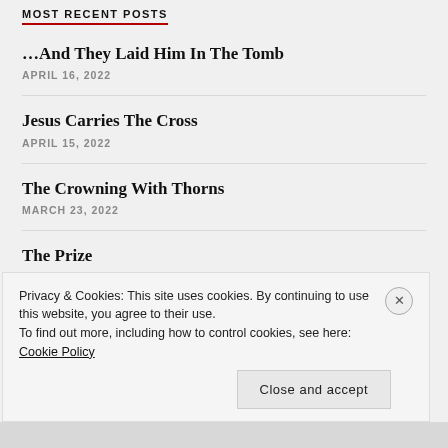MOST RECENT POSTS
…And They Laid Him In The Tomb
APRIL 16, 2022
Jesus Carries The Cross
APRIL 15, 2022
The Crowning With Thorns
MARCH 23, 2022
The Prize
MARCH 21, 2022
Privacy & Cookies: This site uses cookies. By continuing to use this website, you agree to their use.
To find out more, including how to control cookies, see here: Cookie Policy
Close and accept